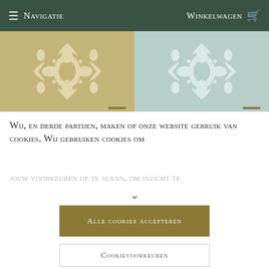☰ Navigatie   Winkelwagen 🛒
[Figure (photo): Two damask wallpaper pattern swatches side by side: left is tan/gold background with cream ornamental damask pattern, right is pale mint/sage background with white ornamental damask pattern.]
Wij, en derde partijen, maken op onze website gebruik van cookies. Wij gebruiken cookies om jouw voorkeuren op te slaan, om inzicht te
Alle cookies accepteren
Cookievoorkeuren